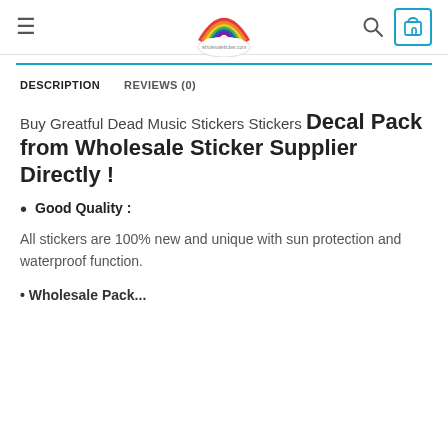≡  [rainbow logo]  🔍  0
DESCRIPTION
REVIEWS (0)
Buy Greatful Dead Music Stickers Stickers Decal Pack from Wholesale Sticker Supplier Directly !
Good Quality :
All stickers are 100% new and unique with sun protection and waterproof function.
• Wholesale Pack...